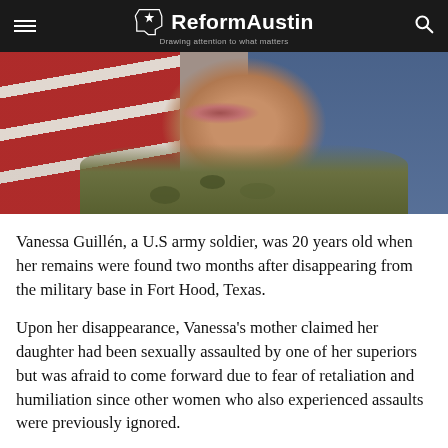ReformAustin — Drawing attention to what matters
[Figure (photo): Portrait photo of Vanessa Guillén in U.S. Army uniform, cropped to show lower face and shoulders, with American flag and blue background behind her.]
Vanessa Guillén, a U.S army soldier, was 20 years old when her remains were found two months after disappearing from the military base in Fort Hood, Texas.
Upon her disappearance, Vanessa's mother claimed her daughter had been sexually assaulted by one of her superiors but was afraid to come forward due to fear of retaliation and humiliation since other women who also experienced assaults were previously ignored.